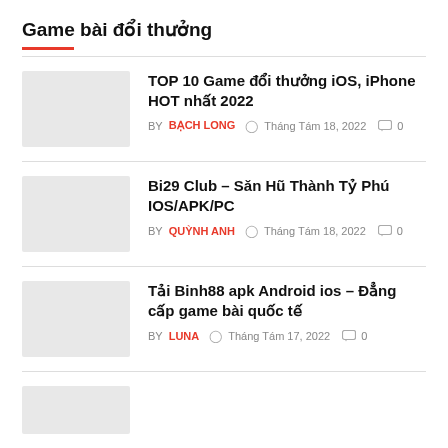Game bài đổi thưởng
TOP 10 Game đổi thưởng iOS, iPhone HOT nhất 2022 | BY BẠCH LONG | Tháng Tám 18, 2022 | 0
Bi29 Club – Săn Hũ Thành Tỷ Phú IOS/APK/PC | BY QUỲNH ANH | Tháng Tám 18, 2022 | 0
Tải Binh88 apk Android ios – Đẳng cấp game bài quốc tế | BY LUNA | Tháng Tám 17, 2022 | 0